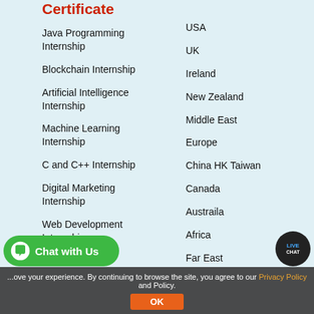Certificate
Java Programming Internship
Blockchain Internship
Artificial Intelligence Internship
Machine Learning Internship
C and C++ Internship
Digital Marketing Internship
Web Development Internship
...ternship
USA
UK
Ireland
New Zealand
Middle East
Europe
China HK Taiwan
Canada
Austraila
Africa
Far East
...ove your experience. By continuing to browse the site, you agree to our Privacy Policy and Policy.
Chat with Us
LIVE CHAT